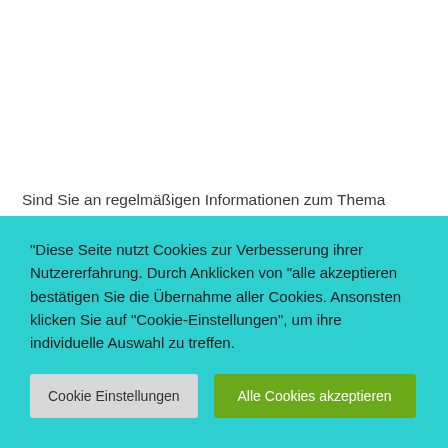Sind Sie an regelmäßigen Informationen zum Thema Hochstrittigkeit interessiert? Dann melden Sie sich zum Newsletter von hochstrittig.org an. Wir werden Sie dann mit jeweils aktuellen Informationen rund um
"Diese Seite nutzt Cookies zur Verbesserung ihrer Nutzererfahrung. Durch Anklicken von "alle akzeptieren bestätigen Sie die Übernahme aller Cookies. Ansonsten klicken Sie auf "Cookie-Einstellungen", um ihre individuelle Auswahl zu treffen.
Cookie Einstellungen
Alle Cookies akzeptieren